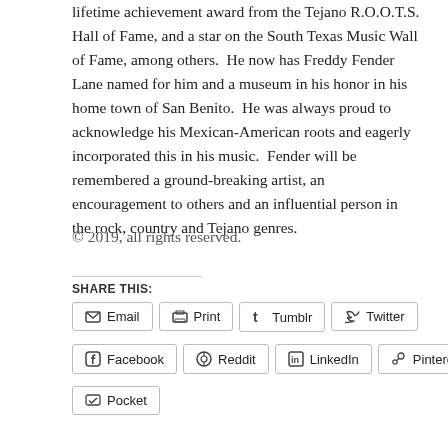lifetime achievement award from the Tejano R.O.O.T.S. Hall of Fame, and a star on the South Texas Music Wall of Fame, among others.  He now has Freddy Fender Lane named for him and a museum in his honor in his home town of San Benito.  He was always proud to acknowledge his Mexican-American roots and eagerly incorporated this in his music.  Fender will be remembered a ground-breaking artist, an encouragement to others and an influential person in the rock, country and Tejano genres.
© 2019, all rights reserved.
SHARE THIS:
Email
Print
Tumblr
Twitter
Facebook
Reddit
LinkedIn
Pinterest
Pocket